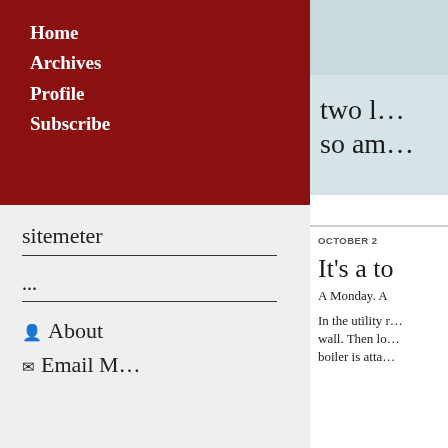Home
Archives
Profile
Subscribe
sitemeter
...
About
Email Me
[Figure (illustration): Light blue rectangle, top right sidebar area]
two b... so am...
OCTOBER 2
It's a to
A Monday. A
In the utility r... wall. Then lo... boiler is atta...